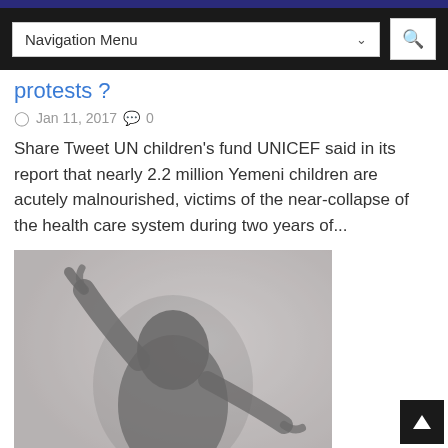Navigation Menu
protests ?
Jan 11, 2017  0
Share Tweet UN children's fund UNICEF said in its report that nearly 2.2 million Yemeni children are acutely malnourished, victims of the near-collapse of the health care system during two years of...
[Figure (photo): Grayscale silhouette of a person with arms raised, with a 'Europe' category badge in the lower left corner]
Muslim migrant OVERDUE for